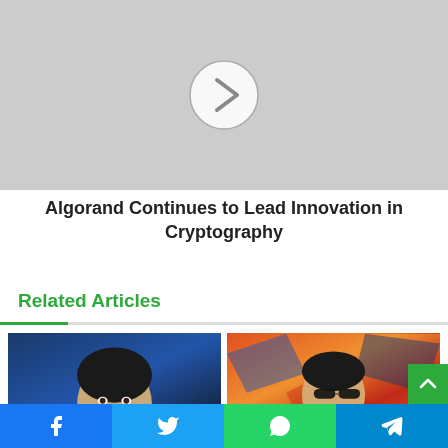[Figure (screenshot): Gray placeholder image area with a circular play/next button (chevron right icon) in the center]
Algorand Continues to Lead Innovation in Cryptography
Related Articles
[Figure (photo): Photo of Elon Musk against a dark blue background]
Elon Musk Is World's Richest
[Figure (photo): Photo of Simon Cowell smiling against a colorful red/orange abstract background]
Simon Cowell Breaks his